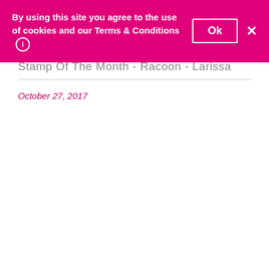By using this site you agree to the use of cookies and our Terms & Conditions
Stamp of the Month - Racoon - Larissa
October 27, 2017